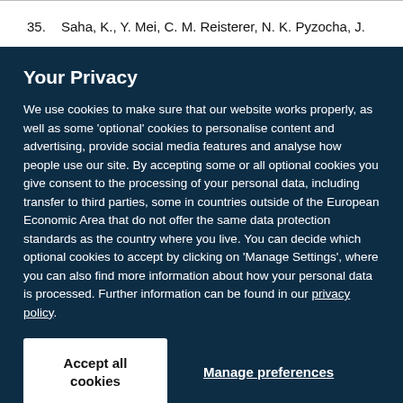35.  Saha, K., Y. Mei, C. M. Reisterer, N. K. Pyzocha, J.
Your Privacy
We use cookies to make sure that our website works properly, as well as some ‘optional’ cookies to personalise content and advertising, provide social media features and analyse how people use our site. By accepting some or all optional cookies you give consent to the processing of your personal data, including transfer to third parties, some in countries outside of the European Economic Area that do not offer the same data protection standards as the country where you live. You can decide which optional cookies to accept by clicking on ‘Manage Settings’, where you can also find more information about how your personal data is processed. Further information can be found in our privacy policy.
Accept all cookies
Manage preferences